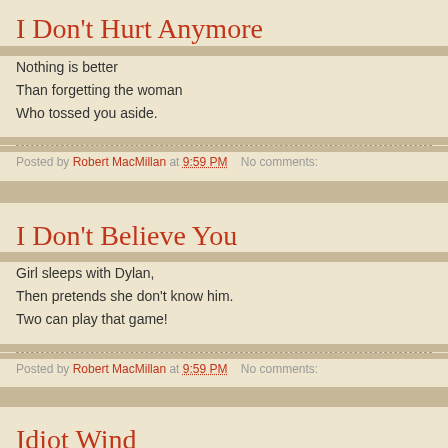I Don't Hurt Anymore
Nothing is better
Than forgetting the woman
Who tossed you aside.
Posted by Robert MacMillan at 9:59 PM    No comments:
I Don't Believe You
Girl sleeps with Dylan,
Then pretends she don't know him.
Two can play that game!
Posted by Robert MacMillan at 9:59 PM    No comments:
Idiot Wind